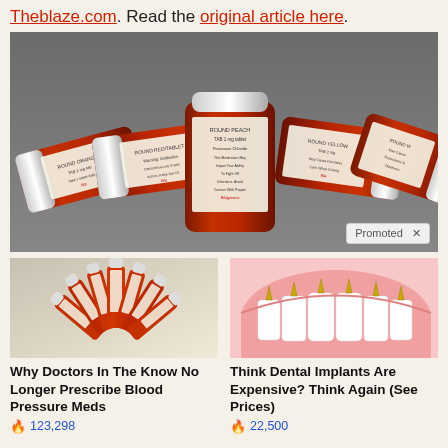Theblaze.com. Read the original article here.
[Figure (photo): Several amber prescription medicine bottles lying on their sides showing Walgreens pharmacy labels]
[Figure (photo): Several amber prescription medicine bottles arranged in a fan pattern on a white background]
Why Doctors In The Know No Longer Prescribe Blood Pressure Meds
123,298
[Figure (illustration): Dental implant illustration showing teeth with gold implant posts in pink gum tissue]
Think Dental Implants Are Expensive? Think Again (See Prices)
22,500